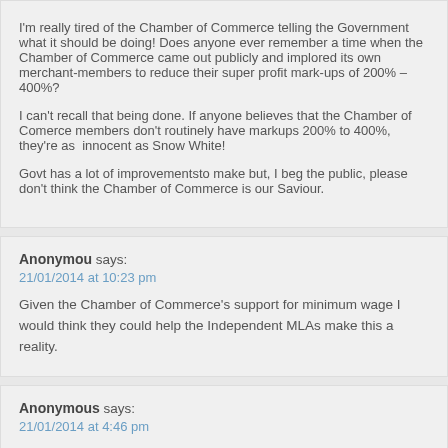I'm really tired of the Chamber of Commerce telling the Government what it should be doing! Does anyone ever remember a time when the Chamber of Commerce came out publicly and implored its own merchant-members to reduce their super profit mark-ups of 200% – 400%?
I can't recall that being done. If anyone believes that the Chamber of Comerce members don't routinely have markups 200% to 400%, they're as  innocent as Snow White!
Govt has a lot of improvementsto make but, I beg the public, please don't think the Chamber of Commerce is our Saviour.
Anonymou says:
21/01/2014 at 10:23 pm
Given the Chamber of Commerce's support for minimum wage I would think they could help the Independent MLAs make this a reality.
Anonymous says:
21/01/2014 at 4:46 pm